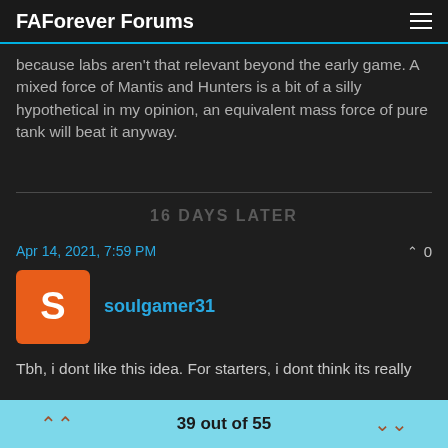FAForever Forums
because labs aren't that relevant beyond the early game. A mixed force of Mantis and Hunters is a bit of a silly hypothetical in my opinion, an equivalent mass force of pure tank will beat it anyway.
16 DAYS LATER
Apr 14, 2021, 7:59 PM
soulgamer31
Tbh, i dont like this idea. For starters, i dont think its really
39 out of 55